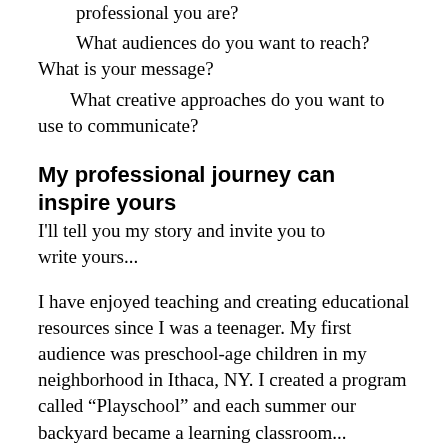professional you are?
What audiences do you want to reach? What is your message?
What creative approaches do you want to use to communicate?
My professional journey can inspire yours
I'll tell you my story and invite you to write yours...
I have enjoyed teaching and creating educational resources since I was a teenager. My first audience was preschool-age children in my neighborhood in Ithaca, NY. I created a program called “Playschool” and each summer our backyard became a learning classroom...